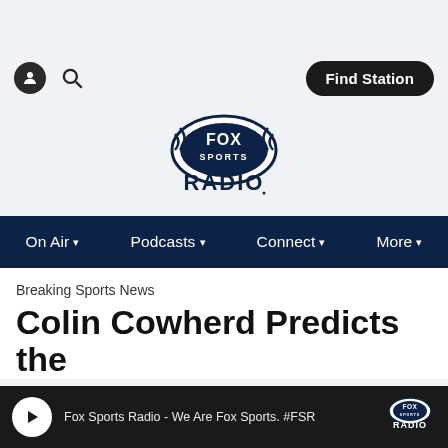[Figure (screenshot): Fox Sports Radio website screenshot showing navigation header with account and search icons, Find Station button, Fox Sports Radio logo, navigation bar with On Air, Podcasts, Connect, More menu items, a Breaking Sports News label, article title 'Colin Cowherd Predicts the', and a player bar at the bottom showing 'Fox Sports Radio - We Are Fox Sports. #FSR']
Find Station
[Figure (logo): Fox Sports Radio logo — oval with FOX SPORTS text and RADIO below]
On Air  Podcasts  Connect  More
Breaking Sports News
Colin Cowherd Predicts the
Fox Sports Radio - We Are Fox Sports. #FSR